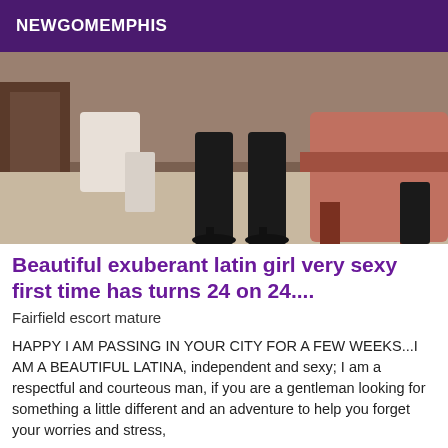NEWGOMEMPHIS
[Figure (photo): Photo showing legs of a woman in black stockings and high heels standing near a chair in a room]
Beautiful exuberant latin girl very sexy first time has turns 24 on 24....
Fairfield escort mature
HAPPY I AM PASSING IN YOUR CITY FOR A FEW WEEKS...I AM A BEAUTIFUL LATINA, independent and sexy; I am a respectful and courteous man, if you are a gentleman looking for something a little different and an adventure to help you forget your worries and stress, the...